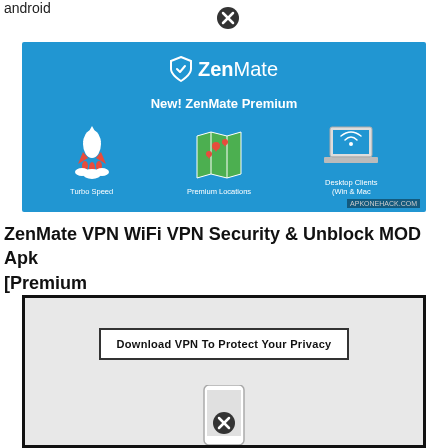android
[Figure (illustration): ZenMate VPN advertisement banner with blue background showing ZenMate logo, 'New! ZenMate Premium' text, and three icons: rocket (Turbo Speed), map (Premium Locations), laptop (Desktop Clients Win & Mac). APKONEHACK.COM watermark.]
ZenMate VPN WiFi VPN Security & Unblock MOD Apk [Premium
[Figure (screenshot): Screenshot of a webpage or app with grey background showing a bordered text box reading 'Download VPN To Protect Your Privacy', and at the bottom a partial phone image with a close (X) button overlay.]